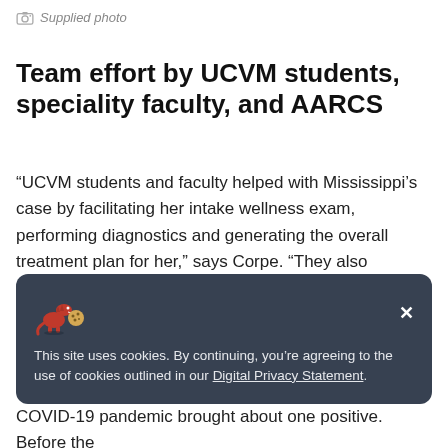Supplied photo
Team effort by UCVM students, speciality faculty, and AARCS
“UCVM students and faculty helped with Mississippi’s case by facilitating her intake wellness exam, performing diagnostics and generating the overall treatment plan for her,” says Corpe. “They also provided day-to-day assessments and discussed as a group the most effective way to manage her case with the resources our organization had available.”
This site uses cookies. By continuing, you’re agreeing to the use of cookies outlined in our Digital Privacy Statement.
COVID-19 pandemic brought about one positive. Before the